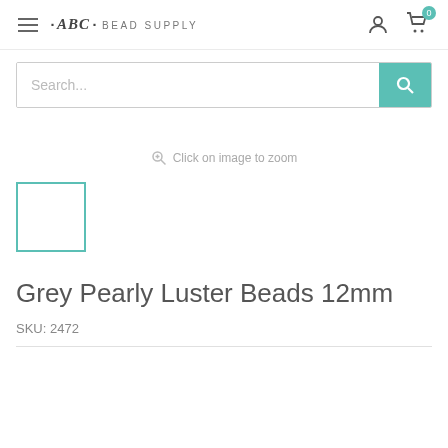ABC BEAD SUPPLY
Search...
Click on image to zoom
[Figure (other): Product thumbnail placeholder box with teal border, empty white interior]
Grey Pearly Luster Beads 12mm
SKU: 2472